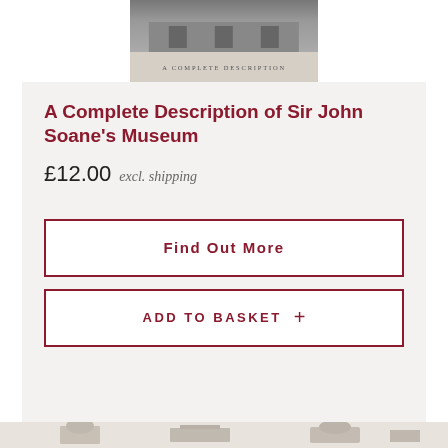[Figure (photo): Book cover image for 'A Complete Description of Sir John Soane's Museum' showing a building facade and text 'A COMPLETE DESCRIPTION']
A Complete Description of Sir John Soane's Museum
£12.00 excl. shipping
Find Out More
ADD TO BASKET +
[Figure (illustration): Architectural illustrations of buildings at the bottom of the page]